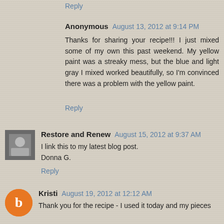Reply
Anonymous  August 13, 2012 at 9:14 PM
Thanks for sharing your recipe!!! I just mixed some of my own this past weekend. My yellow paint was a streaky mess, but the blue and light gray I mixed worked beautifully, so I'm convinced there was a problem with the yellow paint.
Reply
Restore and Renew  August 15, 2012 at 9:37 AM
I link this to my latest blog post.
Donna G.
Reply
Kristi  August 19, 2012 at 12:12 AM
Thank you for the recipe - I used it today and my pieces